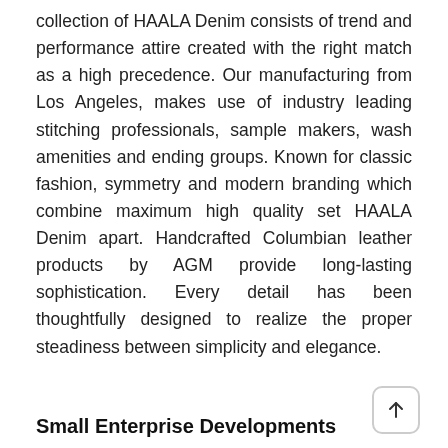collection of HAALA Denim consists of trend and performance attire created with the right match as a high precedence. Our manufacturing from Los Angeles, makes use of industry leading stitching professionals, sample makers, wash amenities and ending groups. Known for classic fashion, symmetry and modern branding which combine maximum high quality set HAALA Denim apart. Handcrafted Columbian leather products by AGM provide long-lasting sophistication. Every detail has been thoughtfully designed to realize the proper steadiness between simplicity and elegance.
Small Enterprise Developments